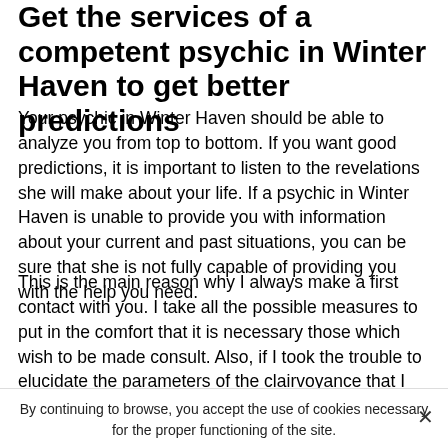Get the services of a competent psychic in Winter Haven to get better predictions
Your psychic in Winter Haven should be able to analyze you from top to bottom. If you want good predictions, it is important to listen to the revelations she will make about your life. If a psychic in Winter Haven is unable to provide you with information about your current and past situations, you can be sure that she is not fully capable of providing you with the help you need.
This is the main reason why I always make a first contact with you. I take all the possible measures to put in the comfort that it is necessary those which wish to be made consult. Also, if I took the trouble to elucidate the parameters of the clairvoyance that I practice, it is because it is essential that the one who grants my services can have an idea on my working strategy. I usually, before
By continuing to browse, you accept the use of cookies necessary for the proper functioning of the site.